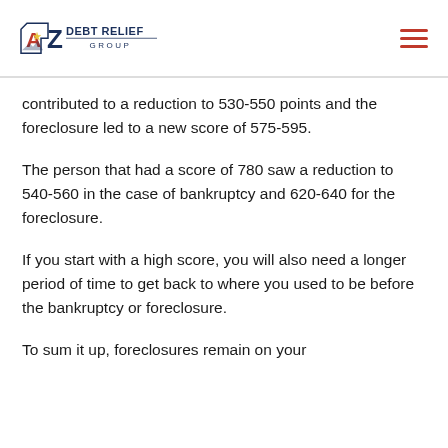AZ Debt Relief Group
contributed to a reduction to 530-550 points and the foreclosure led to a new score of 575-595.
The person that had a score of 780 saw a reduction to 540-560 in the case of bankruptcy and 620-640 for the foreclosure.
If you start with a high score, you will also need a longer period of time to get back to where you used to be before the bankruptcy or foreclosure.
To sum it up, foreclosures remain on your